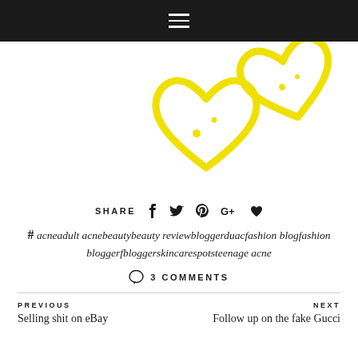Navigation bar with hamburger menu
[Figure (illustration): Two yellow hand-drawn heart outlines on white background]
SHARE
# acneadult acnebeautybeauty reviewbloggerduacfashion blogfashion bloggerfbloggerskincarespotsteenage acne
3 COMMENTS
PREVIOUS
Selling shit on eBay
NEXT
Follow up on the fake Gucci